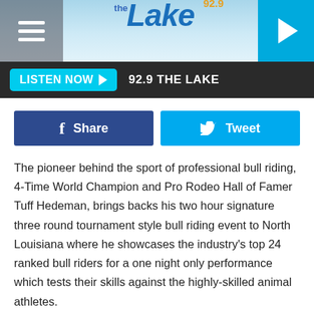92.9 The Lake
LISTEN NOW  92.9 THE LAKE
Share  Tweet
The pioneer behind the sport of professional bull riding, 4-Time World Champion and Pro Rodeo Hall of Famer Tuff Hedeman, brings backs his two hour signature three round tournament style bull riding event to North Louisiana where he showcases the industry's top 24 ranked bull riders for a one night only performance which tests their skills against the highly-skilled animal athletes.
The Pro Rodeo Hall of Famer has lined up the roster of World Champions and Wrangler National Finals Rodeo (NFR) athletes to compete for the second stop on his national tour,